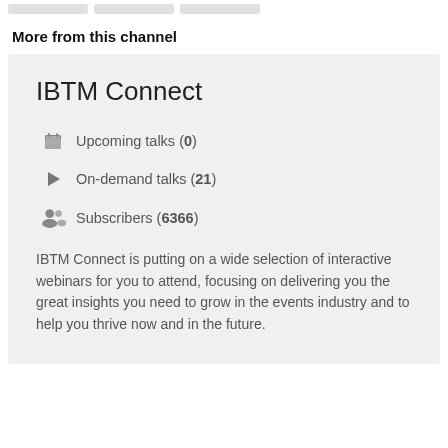More from this channel
IBTM Connect
Upcoming talks (0)
On-demand talks (21)
Subscribers (6366)
IBTM Connect is putting on a wide selection of interactive webinars for you to attend, focusing on delivering you the great insights you need to grow in the events industry and to help you thrive now and in the future.